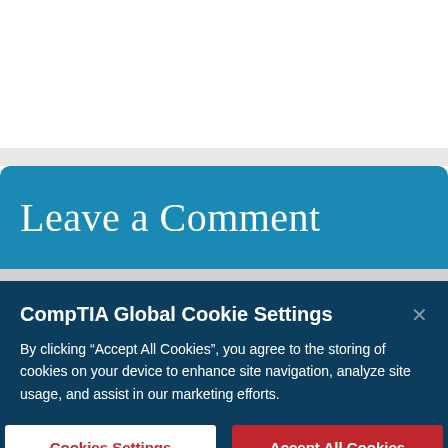Leave a Comment
CompTIA Global Cookie Settings
By clicking “Accept All Cookies”, you agree to the storing of cookies on your device to enhance site navigation, analyze site usage, and assist in our marketing efforts.
Cookies Settings
Accept All Cookies